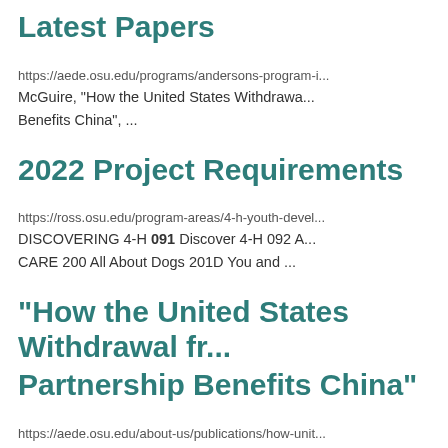Latest Papers
https://aede.osu.edu/programs/andersons-program-i...
McGuire, "How the United States Withdrawa...
Benefits China", ...
2022 Project Requirements
https://ross.osu.edu/program-areas/4-h-youth-devel...
DISCOVERING 4-H 091 Discover 4-H 092 A...
CARE 200 All About Dogs 201D You and ...
"How the United States Withdrawal fr... Partnership Benefits China"
https://aede.osu.edu/about-us/publications/how-unit... partnership-benefits-china
Discussion of the economic and political cost...